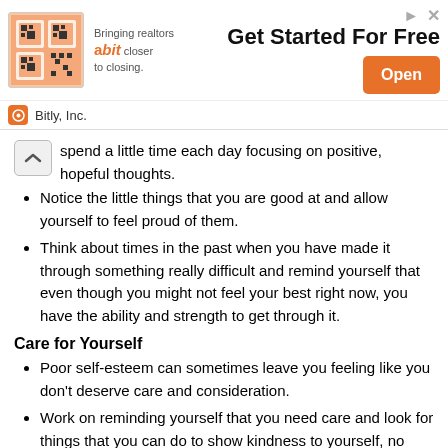[Figure (other): Advertisement banner for Bitly Inc. 'Bringing realtors a bit closer to closing.' with Get Started For Free headline and Open button]
spend a little time each day focusing on positive, hopeful thoughts.
Notice the little things that you are good at and allow yourself to feel proud of them.
Think about times in the past when you have made it through something really difficult and remind yourself that even though you might not feel your best right now, you have the ability and strength to get through it.
Care for Yourself
Poor self-esteem can sometimes leave you feeling like you don't deserve care and consideration.
Work on reminding yourself that you need care and look for things that you can do to show kindness to yourself, no matter how small they may be.
Spend some time doing something that you enjoy.
Give yourself moments of rest and relaxation.